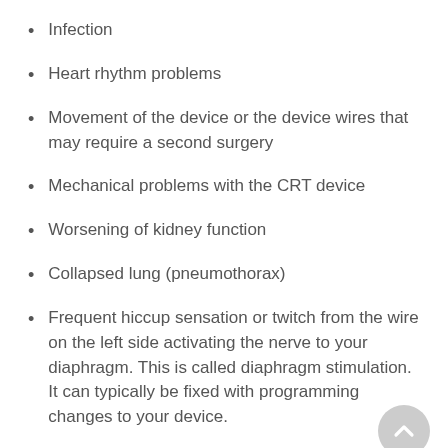Infection
Heart rhythm problems
Movement of the device or the device wires that may require a second surgery
Mechanical problems with the CRT device
Worsening of kidney function
Collapsed lung (pneumothorax)
Frequent hiccup sensation or twitch from the wire on the left side activating the nerve to your diaphragm. This is called diaphragm stimulation. It can typically be fixed with programming changes to your device.
[Figure (illustration): Scroll-to-top button icon (upward chevron in a grey circle) in the bottom-right corner]